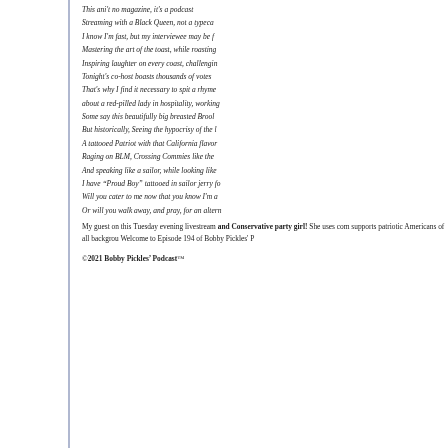This ani't no magazine, it's a podcast
Streaming with a Black Queen, not a typeca
I know I'm fast, but my interviewee may be f
Mastering the art of the toast, while roasting
Inspiring laughter on every coast, challengin
Tonight's co-host boasts thousands of votes
That's why I find it necessary to spit a rhyme
about a red-pilled lady in hospitality, working
Some say this beautifully big breasted Brool
But historically, Seeing the hypocrisy of the l
A tattooed Patriot with that California flavor
Raging on BLM, Crossing Commies like the
And speaking like a sailor, while looking like
I have "Proud Boy" tattooed in sailor jerry fo
Will you cater to me now that you know I'm a
Or will you walk away, and pray, for an altern
My guest on this Tuesday evening livestream and Conservative party girl! She uses com supports patriotic Americans of all backgrou Welcome to Episode 194 of Bobby Pickles' P
©2021 Bobby Pickles' Podcast™